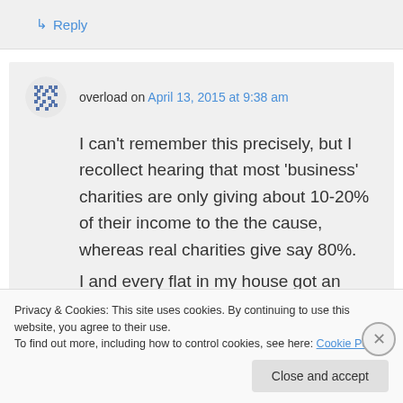↳ Reply
overload on April 13, 2015 at 9:38 am
I can't remember this precisely, but I recollect hearing that most 'business' charities are only giving about 10-20% of their income to the the cause, whereas real charities give say 80%.
I and every flat in my house got an
Privacy & Cookies: This site uses cookies. By continuing to use this website, you agree to their use.
To find out more, including how to control cookies, see here: Cookie Policy
Close and accept